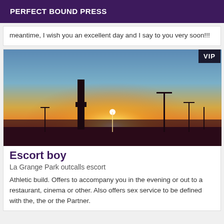PERFECT BOUND PRESS
meantime, I wish you an excellent day and I say to you very soon!!!
[Figure (photo): Sunset or sunrise landscape photo with silhouettes of industrial structures including a chimney stack and utility poles against a dramatic sky of blue, orange, and yellow. A VIP badge is overlaid in the top-right corner.]
Escort boy
La Grange Park outcalls escort
Athletic build. Offers to accompany you in the evening or out to a restaurant, cinema or other. Also offers sex service to be defined with the, the or the Partner.